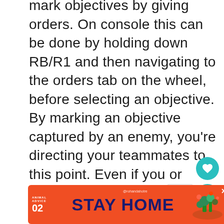mark objectives by giving orders. On console this can be done by holding down RB/R1 and then navigating to the orders tab on the wheel, before selecting an objective. By marking an objective captured by an enemy, you're directing your teammates to this point. Even if you or someone in your squad doesn't capture the objective, you'll earn 100 XP for having completed an order. You can also mark captured points, in which case you'll earn 200 points for defending the are for a certain period of time.
[Figure (other): Teal circular heart/favorite button UI element]
[Figure (other): Teal circular share button UI element]
[Figure (other): reCAPTCHA logo partial view]
[Figure (other): Advertisement banner: Animal Advice 02 STAY HOME @rohandahotre with illustration and close button]